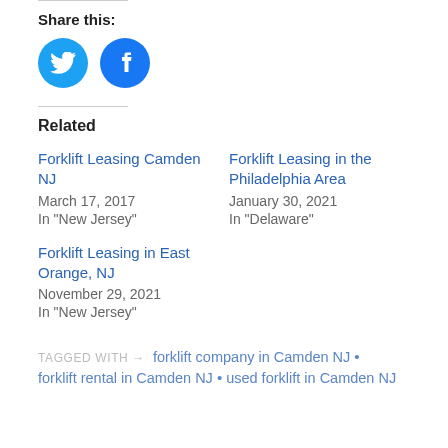Share this:
[Figure (illustration): Two social media share buttons: Twitter (blue bird icon) and Facebook (blue f icon), both circular]
Related
Forklift Leasing Camden NJ
March 17, 2017
In "New Jersey"
Forklift Leasing in the Philadelphia Area
January 30, 2021
In "Delaware"
Forklift Leasing in East Orange, NJ
November 29, 2021
In "New Jersey"
TAGGED WITH → forklift company in Camden NJ • forklift rental in Camden NJ • used forklift in Camden NJ